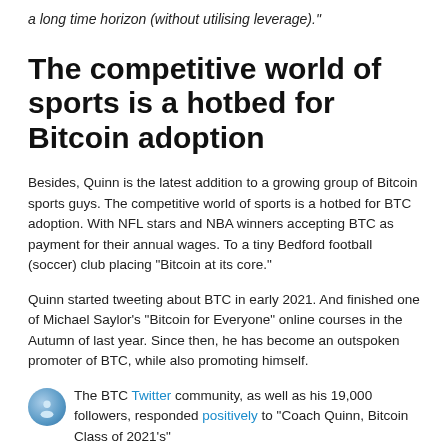a long time horizon (without utilising leverage)."
The competitive world of sports is a hotbed for Bitcoin adoption
Besides, Quinn is the latest addition to a growing group of Bitcoin sports guys. The competitive world of sports is a hotbed for BTC adoption. With NFL stars and NBA winners accepting BTC as payment for their annual wages. To a tiny Bedford football (soccer) club placing “Bitcoin at its core.”
Quinn started tweeting about BTC in early 2021. And finished one of Michael Saylor’s “Bitcoin for Everyone” online courses in the Autumn of last year. Since then, he has become an outspoken promoter of BTC, while also promoting himself.
The BTC Twitter community, as well as his 19,000 followers, responded positively to “Coach Quinn, Bitcoin Class of 2021’s”